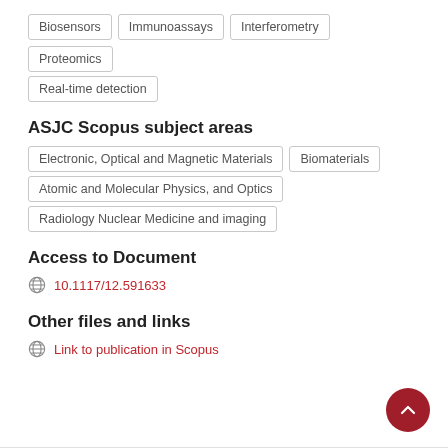Biosensors
Immunoassays
Interferometry
Proteomics
Real-time detection
ASJC Scopus subject areas
Electronic, Optical and Magnetic Materials
Biomaterials
Atomic and Molecular Physics, and Optics
Radiology Nuclear Medicine and imaging
Access to Document
10.1117/12.591633
Other files and links
Link to publication in Scopus